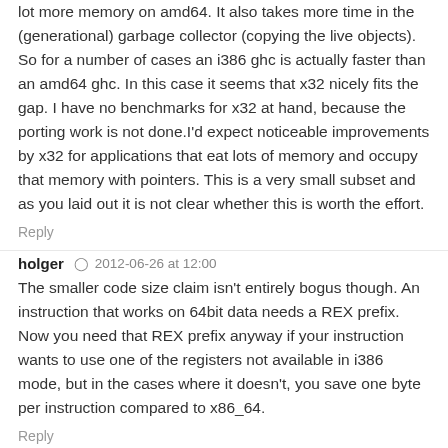lot more memory on amd64. It also takes more time in the (generational) garbage collector (copying the live objects). So for a number of cases an i386 ghc is actually faster than an amd64 ghc. In this case it seems that x32 nicely fits the gap. I have no benchmarks for x32 at hand, because the porting work is not done.I'd expect noticeable improvements by x32 for applications that eat lots of memory and occupy that memory with pointers. This is a very small subset and as you laid out it is not clear whether this is worth the effort.
Reply
holger  2012-06-26 at 12:00
The smaller code size claim isn't entirely bogus though. An instruction that works on 64bit data needs a REX prefix. Now you need that REX prefix anyway if your instruction wants to use one of the registers not available in i386 mode, but in the cases where it doesn't, you save one byte per instruction compared to x86_64.
Reply
Simon Farnsworth  2012-06-26 at 14:01
A question (already posted at LWN...